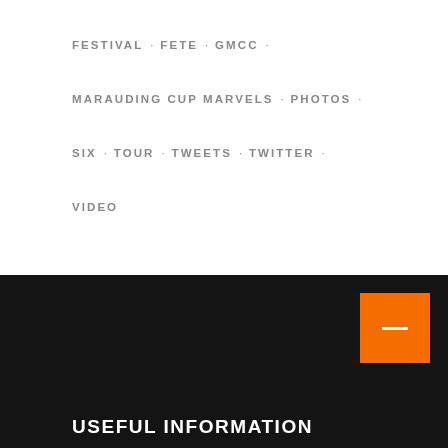FESTIVAL · FETE · GMCC ·
MARAUDING CUP MARVELS · PHOTOS ·
SIX · TOUR · TWEETS · TWITTER ·
VIDEO
USEFUL INFORMATION